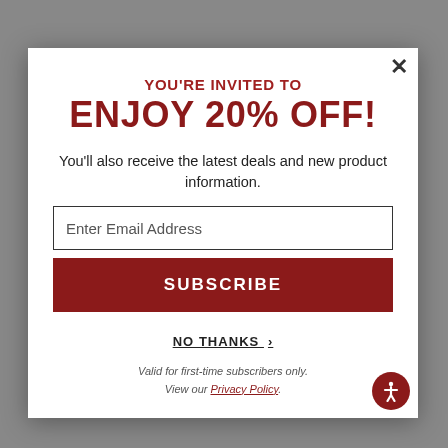YOU'RE INVITED TO ENJOY 20% OFF!
You'll also receive the latest deals and new product information.
Enter Email Address
SUBSCRIBE
NO THANKS ›
Valid for first-time subscribers only. View our Privacy Policy.